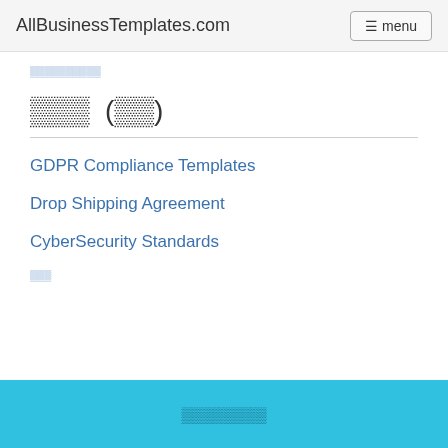AllBusinessTemplates.com  ☰ menu
▪▪▪▪▪▪▪▪▪▪
▪▪▪  (▪▪)
GDPR Compliance Templates
Drop Shipping Agreement
CyberSecurity Standards
▪▪▪
▪▪▪▪▪▪▪▪